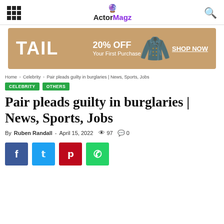ActorMagz
[Figure (infographic): TAIL 20% OFF Your First Purchase - SHOP NOW advertisement banner with tan/brown background and a person wearing athletic wear]
Home > Celebrity > Pair pleads guilty in burglaries | News, Sports, Jobs
CELEBRITY  OTHERS
Pair pleads guilty in burglaries | News, Sports, Jobs
By Ruben Randall - April 15, 2022  97  0
[Figure (infographic): Social sharing buttons: Facebook (blue), Twitter (cyan), Pinterest (red), WhatsApp (green)]